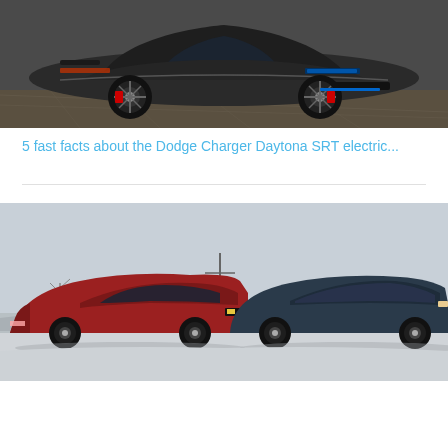[Figure (photo): Photo of the Dodge Charger Daytona SRT electric concept car, a dark gray/charcoal muscle car on a showroom floor with distinctive wheels and red brake calipers]
5 fast facts about the Dodge Charger Daytona SRT electric...
[Figure (photo): Photo of two electric SUVs/vehicles parked side by side in a snowy winter setting — a red one on the left and a dark blue/gray one on the right, likely a Ford Mustang Mach-E vs Tesla comparison]